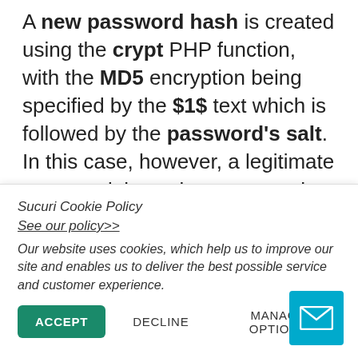A new password hash is created using the crypt PHP function, with the MD5 encryption being specified by the $1$ text which is followed by the password's salt. In this case, however, a legitimate strong salt is not important to the hacker. They can put any random text in the salt section between the $ $ boundaries.
The newly created encrypted password hash is then formed in accordance with the shadow file standards, and looks similar to this:
Sucuri Cookie Policy
See our policy>>
Our website uses cookies, which help us to improve our site and enables us to deliver the best possible service and customer experience.